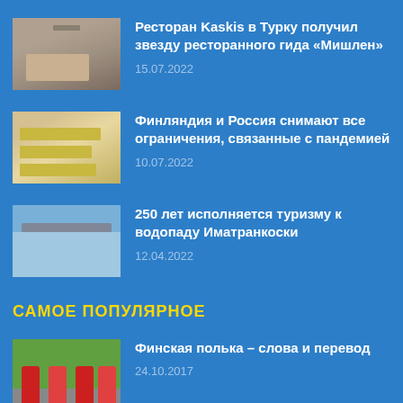[Figure (photo): Interior of restaurant Kaskis with tables and ceiling lamps]
Ресторан Kaskis в Турку получил звезду ресторанного гида «Мишлен»
15.07.2022
[Figure (photo): Airport border crossing signs with directions]
Финляндия и Россия снимают все ограничения, связанные с пандемией
10.07.2022
[Figure (photo): Imatrankoski waterfall dam structure with rushing water]
250 лет исполняется туризму к водопаду Иматранкоски
12.04.2022
САМОЕ ПОПУЛЯРНОЕ
[Figure (photo): Finnish folk dancers in traditional costumes]
Финская полька – слова и перевод
24.10.2017